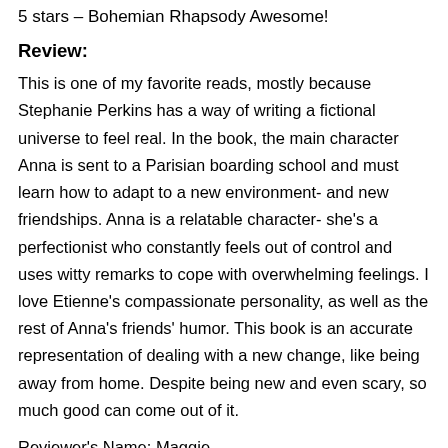5 stars – Bohemian Rhapsody Awesome!
Review:
This is one of my favorite reads, mostly because Stephanie Perkins has a way of writing a fictional universe to feel real. In the book, the main character Anna is sent to a Parisian boarding school and must learn how to adapt to a new environment- and new friendships. Anna is a relatable character- she's a perfectionist who constantly feels out of control and uses witty remarks to cope with overwhelming feelings. I love Etienne's compassionate personality, as well as the rest of Anna's friends' humor. This book is an accurate representation of dealing with a new change, like being away from home. Despite being new and even scary, so much good can come out of it.
Reviewer's Name: Maggie